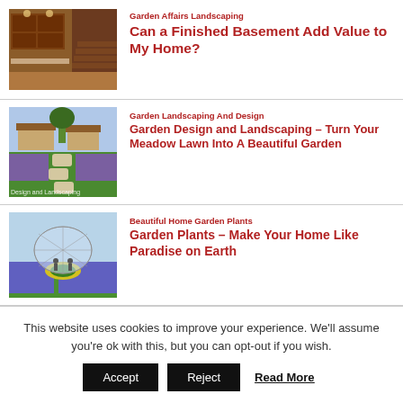[Figure (photo): Kitchen interior with wooden cabinets and staircase]
Garden Affairs Landscaping
Can a Finished Basement Add Value to My Home?
[Figure (photo): Garden with stepping stone path through green lawn]
Garden Landscaping And Design
Garden Design and Landscaping – Turn Your Meadow Lawn Into A Beautiful Garden
[Figure (photo): Garden with greenhouse dome and colorful flower beds]
Beautiful Home Garden Plants
Garden Plants – Make Your Home Like Paradise on Earth
This website uses cookies to improve your experience. We'll assume you're ok with this, but you can opt-out if you wish.